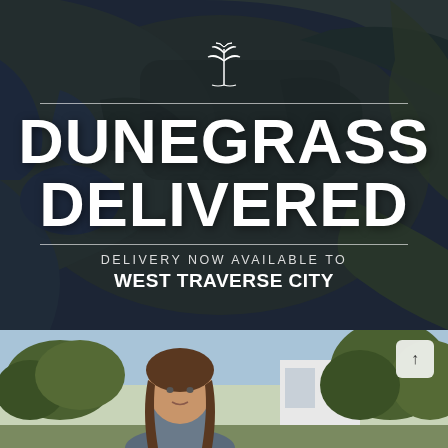[Figure (infographic): Aerial satellite map of West Traverse City area with dark overlay. A white botanical/leaf logo at top, horizontal divider lines, bold white distressed text reading 'DUNEGRASS DELIVERED', and subtitle text 'DELIVERY NOW AVAILABLE TO WEST TRAVERSE CITY'.]
[Figure (photo): Photo of a woman with shoulder-length brown hair standing outdoors in a residential neighborhood with trees and a white building behind her. A small white scroll-up button overlay is visible in the upper right.]